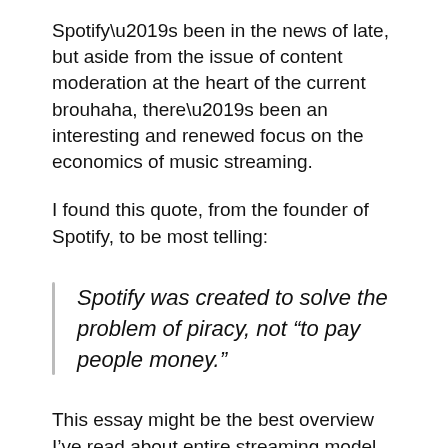Spotify's been in the news of late, but aside from the issue of content moderation at the heart of the current brouhaha, there's been an interesting and renewed focus on the economics of music streaming.
I found this quote, from the founder of Spotify, to be most telling:
Spotify was created to solve the problem of piracy, not “to pay people money.”
This essay might be the best overview I’ve read about entire streaming model and all the players